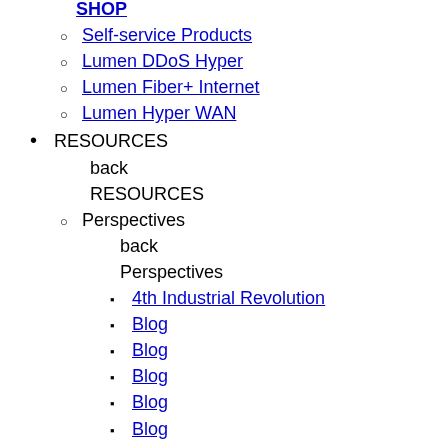SHOP (link, top, partial visible)
Self-service Products
Lumen DDoS Hyper
Lumen Fiber+ Internet
Lumen Hyper WAN
RESOURCES
back
RESOURCES
Perspectives
back
Perspectives
4th Industrial Revolution
Blog
Blog
Blog
Blog
Blog
Customer Stories
Edge Trends
Customer Resources
back
Customer Resources
Customer Portals
Customer Success
Network Maps